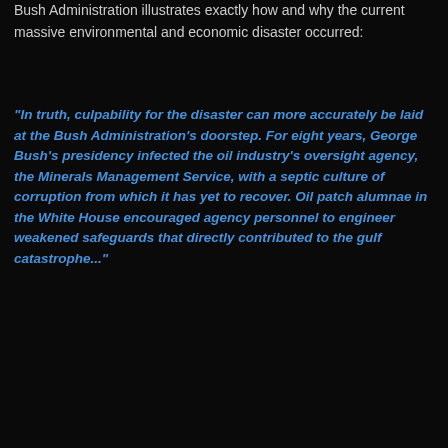Bush Administration illustrates exactly how and why the current massive environmental and economic disaster occurred:
"In truth, culpability for the disaster can more accurately be laid at the Bush Administration's doorstep. For eight years, George Bush's presidency infected the oil industry's oversight agency, the Minerals Management Service, with a septic culture of corruption from which it has yet to recover. Oil patch alumnae in the White House encouraged agency personnel to engineer weakened safeguards that directly contributed to the gulf catastrophe..."
BY MAJIA'S BLOG AT MAY 05, 2010  NO COMMENTS:
TUESDAY, MAY 4, 2010
Media Bias and the Collapse of the Middle Class
http://www.mybudget360.com/wall-street-banking-middle-class-working-poor-employment-wall-street-cloacked-economic-recovery/?utm_source=feedburner&utm_medium=feed&utm_campaign=Feed%3